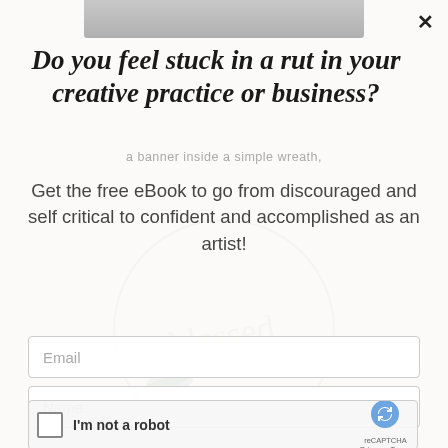[Figure (photo): Background image of craft/art materials partially visible through white overlay; top shows a cropped photo strip]
Do you feel stuck in a rut in your creative practice or business?
a banner inside a simple wreath,
Get the free eBook to go from discouraged and self critical to confident and accomplished as an artist!
Email
Name
I'm not a robot